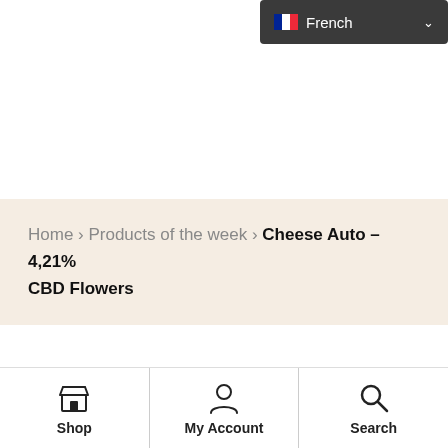[Figure (screenshot): French language selector dropdown button with French flag icon and chevron, dark background]
[Figure (logo): CBDEVOR circular logo with illustrated farmer figure surrounded by plants on golden background]
[Figure (illustration): Shopping cart icon in a beige circle with orange badge showing 0]
Home › Products of the week › Cheese Auto – 4,21% CBD Flowers
Shop
My Account
Search